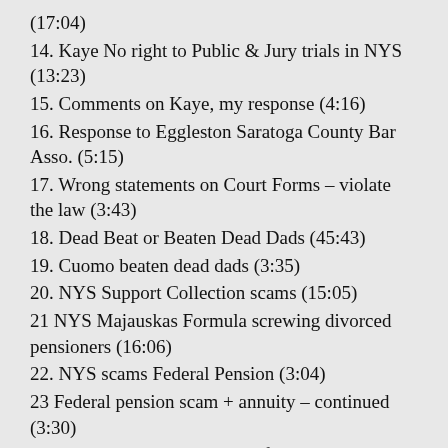(17:04)
14. Kaye No right to Public & Jury trials in NYS (13:23)
15. Comments on Kaye, my response (4:16)
16. Response to Eggleston Saratoga County Bar Asso. (5:15)
17. Wrong statements on Court Forms – violate the law (3:43)
18. Dead Beat or Beaten Dead Dads (45:43)
19. Cuomo beaten dead dads (3:35)
20. NYS Support Collection scams (15:05)
21 NYS Majauskas Formula screwing divorced pensioners (16:06)
22. NYS scams Federal Pension (3:04)
23 Federal pension scam + annuity – continued (3:30)
24. Put judges in jail – release family court prisoners 14:28